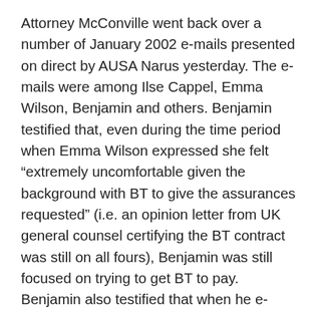Attorney McConville went back over a number of January 2002 e-mails presented on direct by AUSA Narus yesterday. The e-mails were among Ilse Cappel, Emma Wilson, Benjamin and others. Benjamin testified that, even during the time period when Emma Wilson expressed she felt “extremely uncomfortable given the background with BT to give the assurances requested” (i.e. an opinion letter from UK general counsel certifying the BT contract was still on all fours), Benjamin was still focused on trying to get BT to pay. Benjamin also testified that when he e-mailed Gless, “We’ve been offering assurances since last July . . . we’re not acting like this is a valid receivable,” he still believed the best solution was to get BT to pay. On re-direct, AUSA Beste established that it was significant to Benjamin that Wilson used the words “extremely uncomfortable,” especially